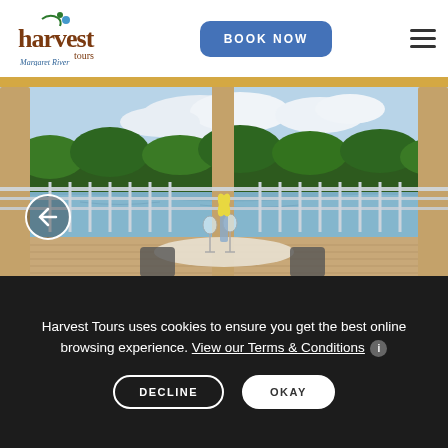Harvest Tours Margaret River — BOOK NOW
[Figure (photo): View from a covered deck/veranda of a restaurant overlooking a calm lake or river, with green trees in the background, white wooden railings, wooden posts, a table set with wine glasses and a yellow flower in a vase, with chairs visible]
Harvest Tours uses cookies to ensure you get the best online experience. View our Terms & Conditions ℹ
DECLINE    OKAY